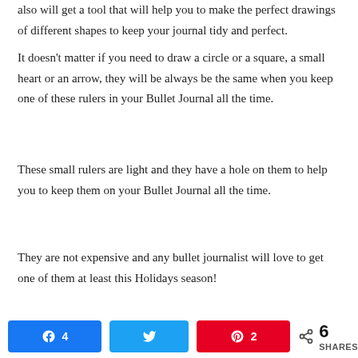also will get a tool that will help you to make the perfect drawings of different shapes to keep your journal tidy and perfect.
It doesn't matter if you need to draw a circle or a square, a small heart or an arrow, they will be always be the same when you keep one of these rulers in your Bullet Journal all the time.
These small rulers are light and they have a hole on them to help you to keep them on your Bullet Journal all the time.
They are not expensive and any bullet journalist will love to get one of them at least this Holidays season!
You can check the price of the Bullet Journal Ruler on Amazon here.
10 Steadtler Fraser